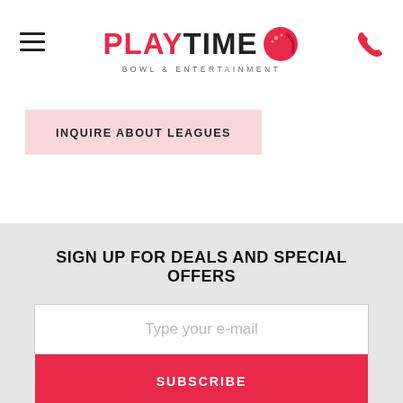[Figure (logo): Playtime Bowl & Entertainment logo with red play bowling ball icon]
INQUIRE ABOUT LEAGUES
SIGN UP FOR DEALS AND SPECIAL OFFERS
Type your e-mail
SUBSCRIBE